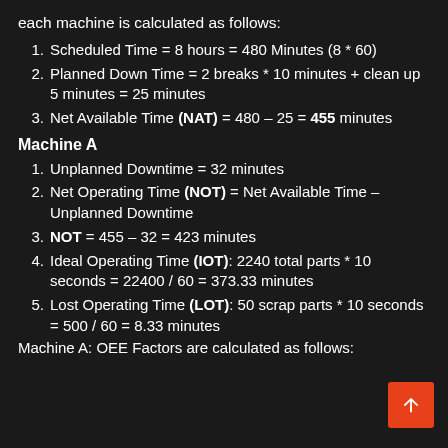each machine is calculated as follows:
Scheduled Time = 8 hours = 480 Minutes (8 * 60)
Planned Down Time = 2 breaks * 10 minutes + clean up 5 minutes = 25 minutes
Net Available Time (NAT) = 480 – 25 = 455 minutes
Machine A
Unplanned Downtime = 32 minutes
Net Operating Time (NOT) = Net Available Time – Unplanned Downtime
NOT = 455 – 32 = 423 minutes
Ideal Operating Time (IOT):  2240 total parts * 10 seconds = 22400 / 60 = 373.33 minutes
Lost Operating Time (LOT):  50 scrap parts * 10 seconds = 500 / 60 = 8.33 minutes
Machine A:  OEE Factors are calculated as follows: